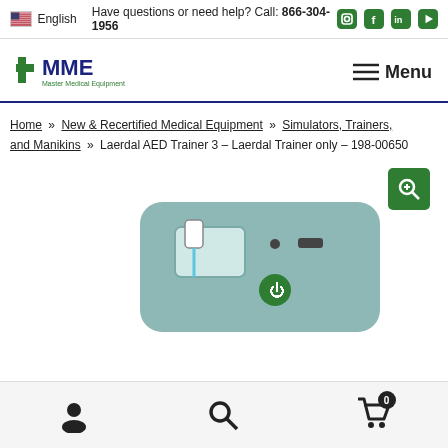Have questions or need help? Call: 866-304-1956
[Figure (logo): Master Medical Equipment logo with green cross and MME text]
Menu
Home » New & Recertified Medical Equipment » Simulators, Trainers, and Manikins » Laerdal AED Trainer 3 – Laerdal Trainer only – 198-00650
[Figure (photo): Laerdal AED Trainer 3 device product photo with green zoom button overlay]